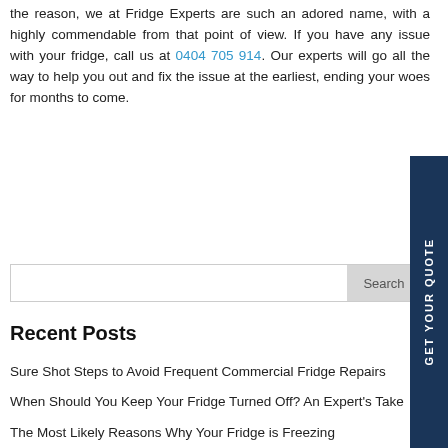the reason, we at Fridge Experts are such an adored name, with a highly commendable from that point of view. If you have any issue with your fridge, call us at 0404 705 914. Our experts will go all the way to help you out and fix the issue at the earliest, ending your woes for months to come.
Recent Posts
Sure Shot Steps to Avoid Frequent Commercial Fridge Repairs
When Should You Keep Your Fridge Turned Off? An Expert's Take
The Most Likely Reasons Why Your Fridge is Freezing